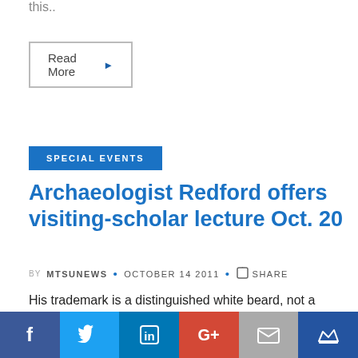this..
Read More ▶
SPECIAL EVENTS
Archaeologist Redford offers visiting-scholar lecture Oct. 20
by MTSUNEWS • OCTOBER 14 2011 • SHARE
His trademark is a distinguished white beard, not a battered fedora, but Penn State archaeologist Dr. Donald B. Redford's discoveries will still impress fans of..
Social share bar: Facebook, Twitter, LinkedIn, Google+, Email, Crown